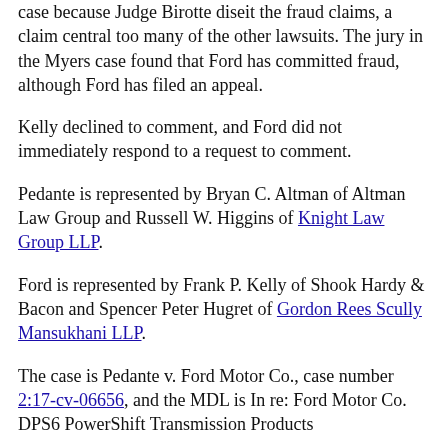case because Judge Birotte diseit the fraud claims, a claim central too many of the other lawsuits. The jury in the Myers case found that Ford has committed fraud, although Ford has filed an appeal.
Kelly declined to comment, and Ford did not immediately respond to a request to comment.
Pedante is represented by Bryan C. Altman of Altman Law Group and Russell W. Higgins of Knight Law Group LLP.
Ford is represented by Frank P. Kelly of Shook Hardy & Bacon and Spencer Peter Hugret of Gordon Rees Scully Mansukhani LLP.
The case is Pedante v. Ford Motor Co., case number 2:17-cv-06656, and the MDL is In re: Ford Motor Co. DPS6 PowerShift Transmission Products